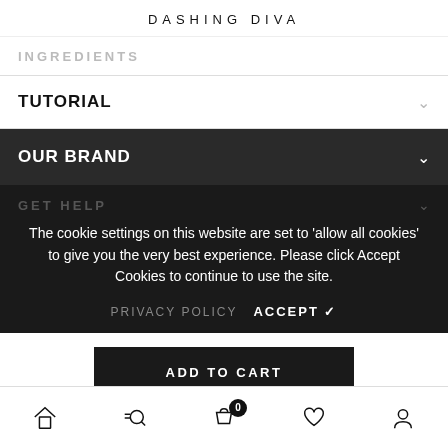DASHING DIVA
INGREDIENTS
TUTORIAL
OUR BRAND
The cookie settings on this website are set to 'allow all cookies' to give you the very best experience. Please click Accept Cookies to continue to use the site.
PRIVACY POLICY  ACCEPT ✓
ADD TO CART
Home | Search | Cart 0 | Wishlist | Account